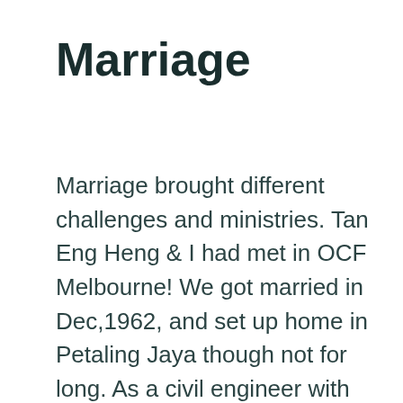Marriage
Marriage brought different challenges and ministries. Tan Eng Heng & I had met in OCF Melbourne! We got married in Dec,1962, and set up home in Petaling Jaya though not for long. As a civil engineer with water works, he was transferred to different places – to the Cameron Highlands Hydroelectric Scheme but accommodated in Bidor over an hour's drive away, back to Kuala Lumpur, then to Malacca, and again back to Kuala Lumpur